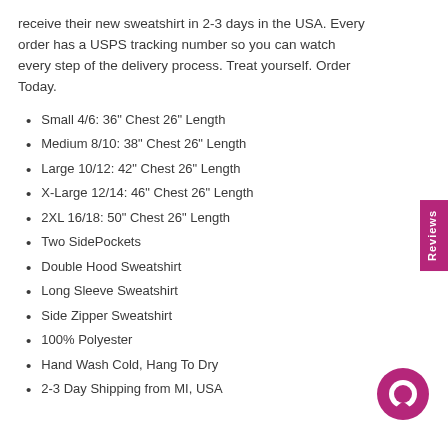receive their new sweatshirt in 2-3 days in the USA. Every order has a USPS tracking number so you can watch every step of the delivery process. Treat yourself. Order Today.
Small 4/6: 36" Chest 26" Length
Medium 8/10: 38" Chest 26" Length
Large 10/12: 42" Chest 26" Length
X-Large 12/14: 46" Chest 26" Length
2XL 16/18: 50" Chest 26" Length
Two SidePockets
Double Hood Sweatshirt
Long Sleeve Sweatshirt
Side Zipper Sweatshirt
100% Polyester
Hand Wash Cold, Hang To Dry
2-3 Day Shipping from MI, USA